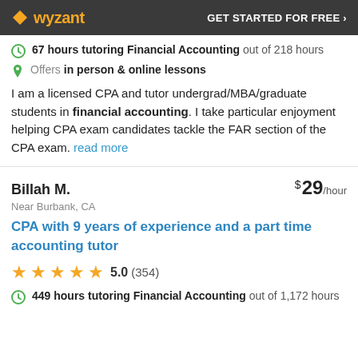wyzant — GET STARTED FOR FREE ›
67 hours tutoring Financial Accounting out of 218 hours
Offers in person & online lessons
I am a licensed CPA and tutor undergrad/MBA/graduate students in financial accounting. I take particular enjoyment helping CPA exam candidates tackle the FAR section of the CPA exam. read more
Billah M. — $ 29/hour
Near Burbank, CA
CPA with 9 years of experience and a part time accounting tutor
5.0 (354)
449 hours tutoring Financial Accounting out of 1,172 hours